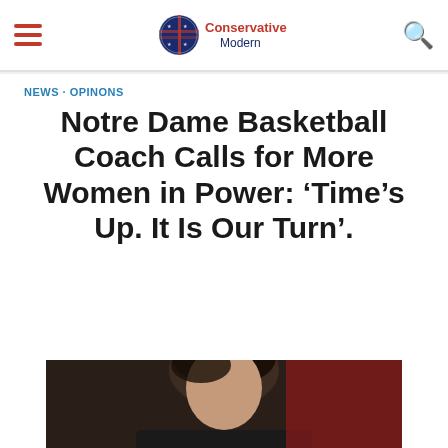Conservative Modern
NEWS · OPINONS
Notre Dame Basketball Coach Calls for More Women in Power: 'Time's Up. It Is Our Turn'.
[Figure (photo): Photo of a person, partially cropped at bottom of page, with dark hair against a red/dark background]